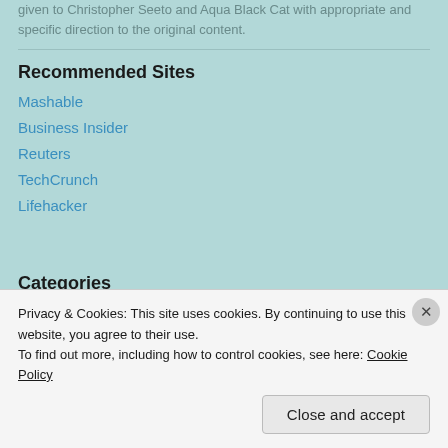given to Christopher Seeto and Aqua Black Cat with appropriate and specific direction to the original content.
Recommended Sites
Mashable
Business Insider
Reuters
TechCrunch
Lifehacker
Categories
Privacy & Cookies: This site uses cookies. By continuing to use this website, you agree to their use.
To find out more, including how to control cookies, see here: Cookie Policy
Close and accept